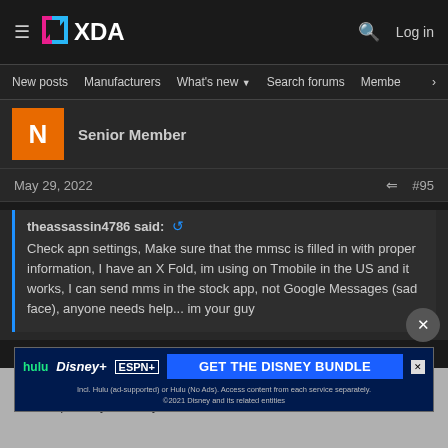XDA Forums header with navigation: New posts, Manufacturers, What's new, Search forums, Members
Senior Member
May 29, 2022  #95
theassassin4786 said:
Check apn settings, Make sure that the mmsc is filled in with proper information, I have an X Fold, im using on Tmobile in the US and it works, I can send mms in the stock app, not Google Messages (sad face), anyone needs help... im your guy
Does your Wi-Fi calling work? I have bad T-Mobile signal in my house and desperately need Wi-Fi calling... can only use it whe
[Figure (screenshot): Disney Bundle advertisement banner showing Hulu, Disney+, ESPN+ logos with GET THE DISNEY BUNDLE call to action]